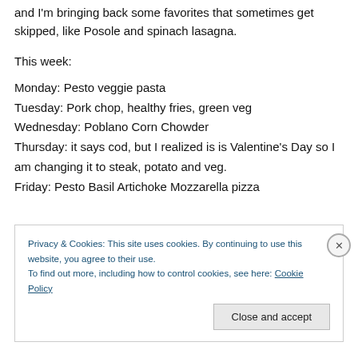and I'm bringing back some favorites that sometimes get skipped, like Posole and spinach lasagna.
This week:
Monday: Pesto veggie pasta
Tuesday: Pork chop, healthy fries, green veg
Wednesday: Poblano Corn Chowder
Thursday: it says cod, but I realized is is Valentine's Day so I am changing it to steak, potato and veg.
Friday: Pesto Basil Artichoke Mozzarella pizza
Privacy & Cookies: This site uses cookies. By continuing to use this website, you agree to their use. To find out more, including how to control cookies, see here: Cookie Policy